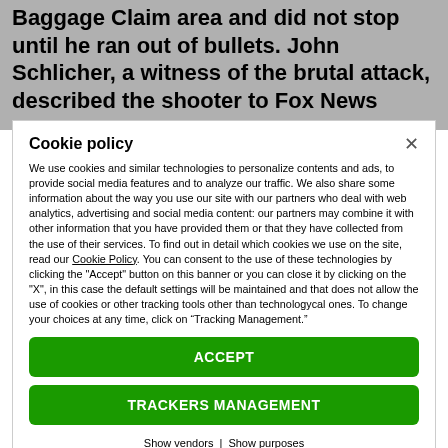Baggage Claim area and did not stop until he ran out of bullets. John Schlicher, a witness of the brutal attack, described the shooter to Fox News
Cookie policy
We use cookies and similar technologies to personalize contents and ads, to provide social media features and to analyze our traffic. We also share some information about the way you use our site with our partners who deal with web analytics, advertising and social media content: our partners may combine it with other information that you have provided them or that they have collected from the use of their services. To find out in detail which cookies we use on the site, read our Cookie Policy. You can consent to the use of these technologies by clicking the "Accept" button on this banner or you can close it by clicking on the "X", in this case the default settings will be maintained and that does not allow the use of cookies or other tracking tools other than technologycal ones. To change your choices at any time, click on “Tracking Management.”
ACCEPT
TRACKERS MANAGEMENT
Show vendors | Show purposes